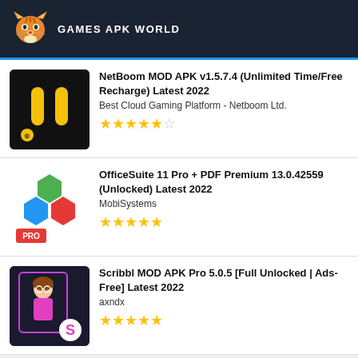GAMES APK WORLD
NetBoom MOD APK v1.5.7.4 (Unlimited Time/Free Recharge) Latest 2022 | Best Cloud Gaming Platform - Netboom Ltd. | Rating: 4.5/5
OfficeSuite 11 Pro + PDF Premium 13.0.42559 (Unlocked) Latest 2022 | MobiSystems | Rating: 5/5
Scribbl MOD APK Pro 5.0.5 [Full Unlocked | Ads-Free] Latest 2022 | axndx | Rating: 5/5
TOP APPS